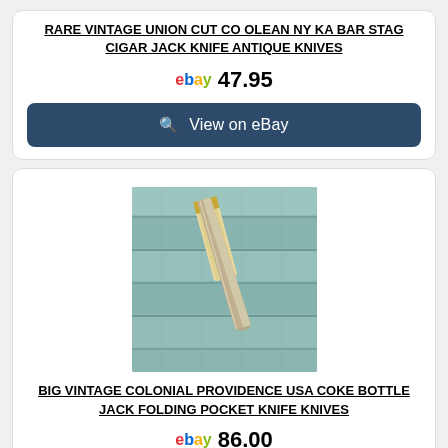RARE VINTAGE UNION CUT CO OLEAN NY KA BAR STAG CIGAR JACK KNIFE ANTIQUE KNIVES
ebay 47.95
View on eBay
[Figure (photo): Photo of a folding pocket knife with pale bone/wood handle lying on a wooden surface with teal/green painted wood planks]
BIG VINTAGE COLONIAL PROVIDENCE USA COKE BOTTLE JACK FOLDING POCKET KNIFE KNIVES
ebay 86.00